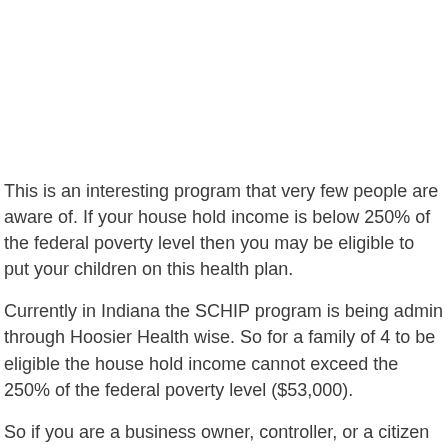This is an interesting program that very few people are aware of. If your house hold income is below 250% of the federal poverty level then you may be eligible to put your children on this health plan.
Currently in Indiana the SCHIP program is being admin through Hoosier Health wise. So for a family of 4 to be eligible the house hold income cannot exceed the 250% of the federal poverty level ($53,000).
So if you are a business owner, controller, or a citizen of Indiana you should know about this program.